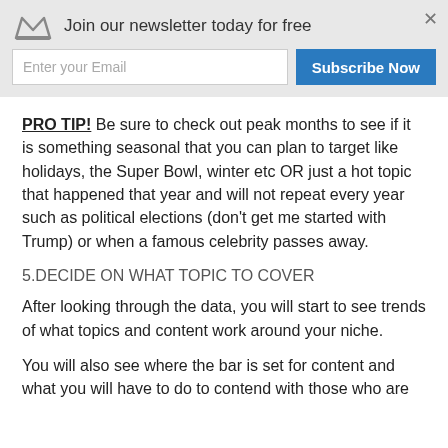Join our newsletter today for free | Enter your Email | Subscribe Now
PRO TIP! Be sure to check out peak months to see if it is something seasonal that you can plan to target like holidays, the Super Bowl, winter etc OR just a hot topic that happened that year and will not repeat every year such as political elections (don’t get me started with Trump) or when a famous celebrity passes away.
5.DECIDE ON WHAT TOPIC TO COVER
After looking through the data, you will start to see trends of what topics and content work around your niche.
You will also see where the bar is set for content and what you will have to do to contend with those who are